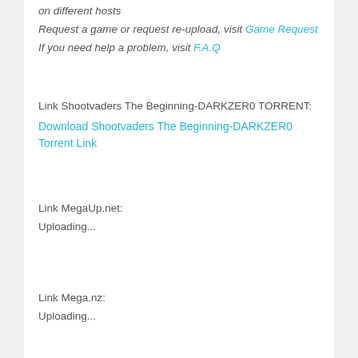on different hosts
Request a game or request re-upload, visit Game Request
If you need help a problem, visit F.A.Q
Link Shootvaders The Beginning-DARKZER0 TORRENT:
Download Shootvaders The Beginning-DARKZER0 Torrent Link
Link MegaUp.net:
Uploading...
Link Mega.nz:
Uploading...